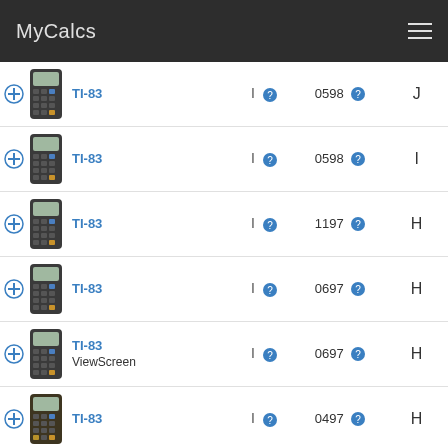MyCalcs
| Device | Type | Date | Rev |
| --- | --- | --- | --- |
| TI-83 | I | 0598 | J |
| TI-83 | I | 0598 | I |
| TI-83 | I | 1197 | H |
| TI-83 | I | 0697 | H |
| TI-83 ViewScreen | I | 0697 | H |
| TI-83 | I | 0497 | H |
| TI-83 | I | 0297 | H |
| TI-83 |  |  |  |